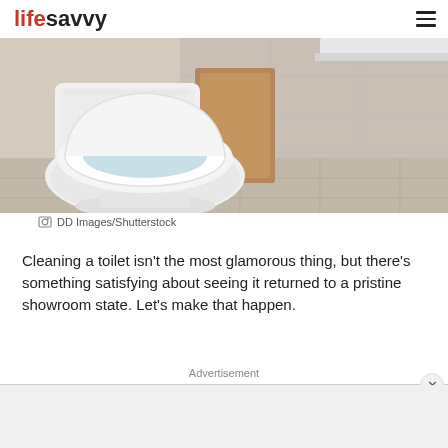lifesavvy
[Figure (photo): A white toilet with open lid in a modern bathroom with wood-paneled walls and tiled floor]
DD Images/Shutterstock
Cleaning a toilet isn't the most glamorous thing, but there's something satisfying about seeing it returned to a pristine showroom state. Let's make that happen.
Advertisement